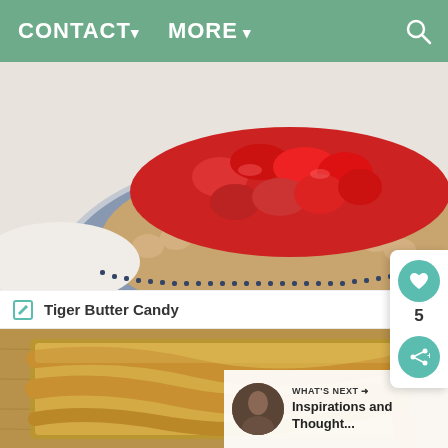CONTACT MORE
[Figure (photo): Close-up photo of a strawberry pie with a crimped crust on a blue and white decorative plate. The filling consists of glazed fresh strawberries.]
[Figure (photo): Photo of Tiger Butter Candy - caramel/peanut butter colored candy swirled on a wooden surface in a baking pan.]
Tiger Butter Candy
WHAT'S NEXT → Inspirations and Thought...